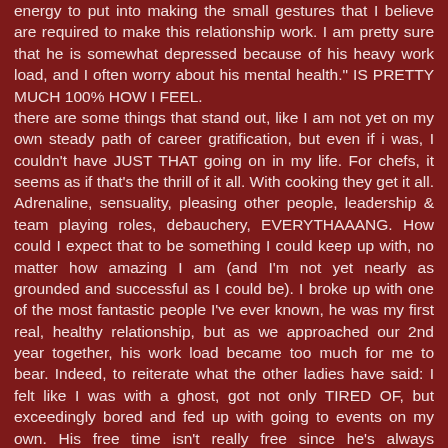energy to put into making the small gestures that I believe are required to make this relationship work. I am pretty sure that he is somewhat depressed because of his heavy work load, and I often worry about his mental health." IS PRETTY MUCH 100% HOW I FEEL. there are some things that stand out, like I am not yet on my own steady path of career gratification, but even if i was, I couldn't have JUST THAT going on in my life. For chefs, it seems as if that's the thrill of it all. With cooking they get it all. Adrenaline, sensuality, pleasing other people, leadership & team playing roles, debauchery, EVERYTHAAANG. How could I expect that to be something I could keep up with, no matter how amazing I am (and I'm not yet nearly as grounded and successful as I could be). I broke up with one of the most fantastic people I've ever known, he was my first real, healthy relationship, but as we approached our 2nd year together, his work load became too much for me to bear. Indeed, to reiterate what the other ladies have said: I felt like I was with a ghost, got not only TIRED OF, but exceedingly bored and fed up with going to events on my own. His free time isn't really free since he's always EXHAUSTED. It's hard for them/chefs to find a balance physically and emotionally since their bodies